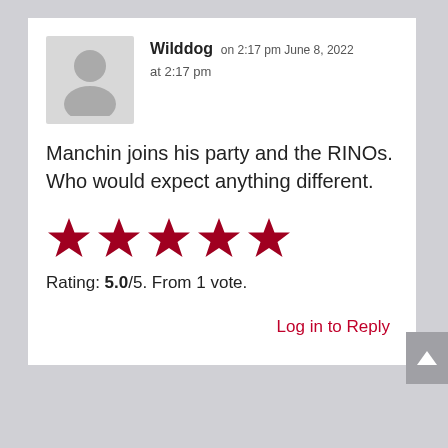[Figure (illustration): Gray placeholder avatar icon showing a silhouette of a person (circle head, rounded torso) on a light gray background.]
Wilddog on 2:17 pm June 8, 2022
at 2:17 pm
Manchin joins his party and the RINOs. Who would expect anything different.
[Figure (other): Five red filled star icons representing a 5 out of 5 star rating.]
Rating: 5.0/5. From 1 vote.
Log in to Reply